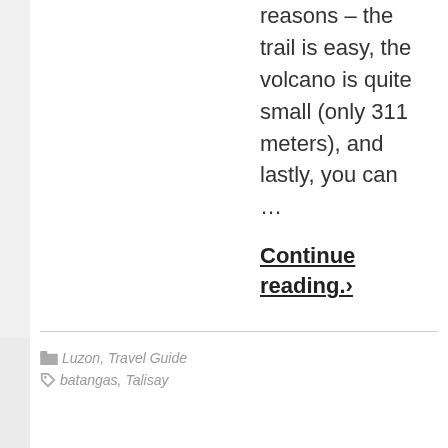reasons – the trail is easy, the volcano is quite small (only 311 meters), and lastly, you can ...
Continue reading.›
Luzon, Travel Guide
batangas, Talisay